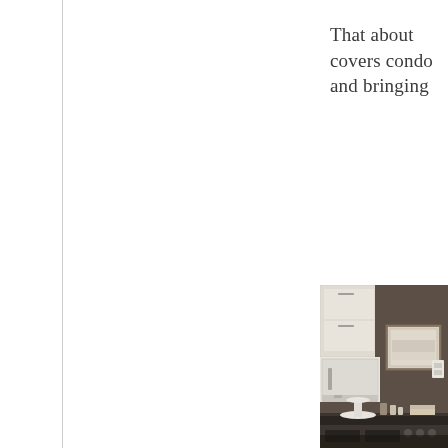That about covers condo and bringing
[Figure (photo): Interior kitchen photo showing white upper cabinets with silver handles, a white over-the-range microwave, dark brown/taupe walls, a framed artwork on the wall, and a kitchen counter/stovetop area with decorative items including a white cake stand, small containers, and a stove, photographed in warm tones.]